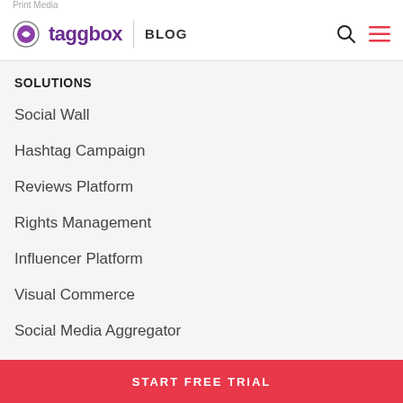taggbox BLOG
SOLUTIONS
Social Wall
Hashtag Campaign
Reviews Platform
Rights Management
Influencer Platform
Visual Commerce
Social Media Aggregator
Social Feed On Website
Virtual Events
START FREE TRIAL